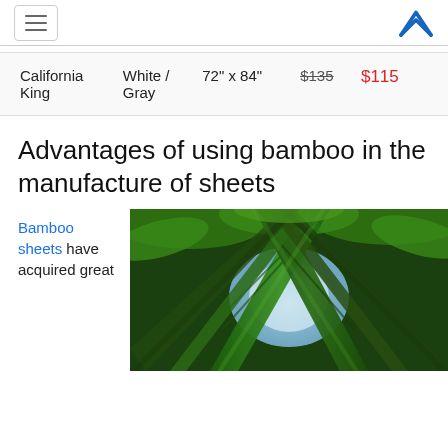Navigation menu and logo
| Size | Color | Dimensions | Original Price | Sale Price |
| --- | --- | --- | --- | --- |
| California King | White / Gray | 72" x 84" | $135 | $115 |
Advantages of using bamboo in the manufacture of sheets
Bamboo sheets have acquired great
[Figure (photo): Upward view of bamboo forest canopy with tall green bamboo stalks against a bright sky]